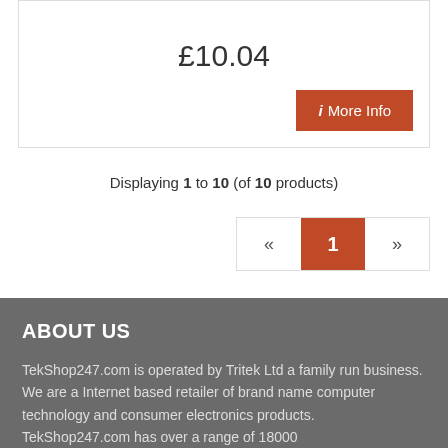£10.04
ⓘ More Info
Displaying 1 to 10 (of 10 products)
« 1 »
ABOUT US
TekShop247.com is operated by Tritek Ltd a family run business. We are a Internet based retailer of brand name computer technology and consumer electronics products. TekShop247.com has over a range of 18000...